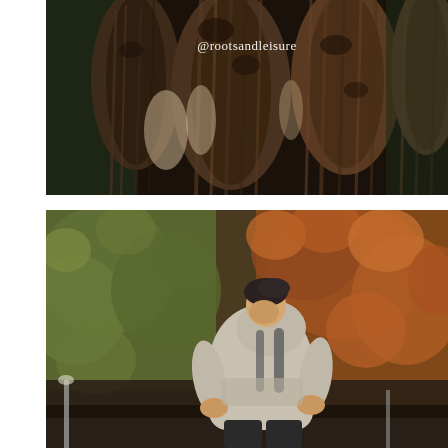[Figure (photo): Close-up photo of brown animal furs/pelts hanging, with foliage in the background. Watermark text '@rootsandleisure' overlaid in white.]
[Figure (photo): Outdoor autumn photo of a person wearing a light grey oversized hoodie and dark trousers, head bowed, standing in front of trees with orange and green autumn foliage.]